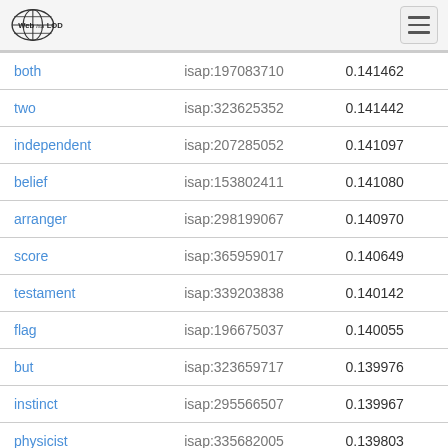Web isa LOD
| word | isap | score |
| --- | --- | --- |
| both | isap:197083710 | 0.141462 |
| two | isap:323625352 | 0.141442 |
| independent | isap:207285052 | 0.141097 |
| belief | isap:153802411 | 0.141080 |
| arranger | isap:298199067 | 0.140970 |
| score | isap:365959017 | 0.140649 |
| testament | isap:339203838 | 0.140142 |
| flag | isap:196675037 | 0.140055 |
| but | isap:323659717 | 0.139976 |
| instinct | isap:295566507 | 0.139967 |
| physicist | isap:335682005 | 0.139803 |